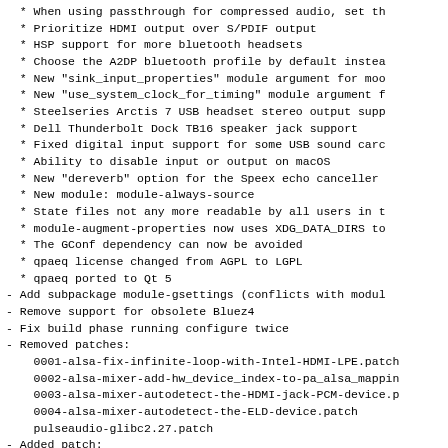* When using passthrough for compressed audio, set th
* Prioritize HDMI output over S/PDIF output
* HSP support for more bluetooth headsets
* Choose the A2DP bluetooth profile by default instea
* New "sink_input_properties" module argument for mod
* New "use_system_clock_for_timing" module argument f
* Steelseries Arctis 7 USB headset stereo output supp
* Dell Thunderbolt Dock TB16 speaker jack support
* Fixed digital input support for some USB sound card
* Ability to disable input or output on macOS
* New "dereverb" option for the Speex echo canceller
* New module: module-always-source
* State files not any more readable by all users in t
* module-augment-properties now uses XDG_DATA_DIRS to
* The GConf dependency can now be avoided
* qpaeq license changed from AGPL to LGPL
* qpaeq ported to Qt 5
- Add subpackage module-gsettings (conflicts with modul
- Remove support for obsolete Bluez4
- Fix build phase running configure twice
- Removed patches:
0001-alsa-fix-infinite-loop-with-Intel-HDMI-LPE.patch
0002-alsa-mixer-add-hw_device_index-to-pa_alsa_mappin
0003-alsa-mixer-autodetect-the-HDMI-jack-PCM-device.p
0004-alsa-mixer-autodetect-the-ELD-device.patch
pulseaudio-glibc2.27.patch
- Added patch:
qpaeq-shebang.patch
* Thu Apr 19 2018 fcrozat@suse.com
- Add Supplements: packageand on zeroconf, lirc, blueto